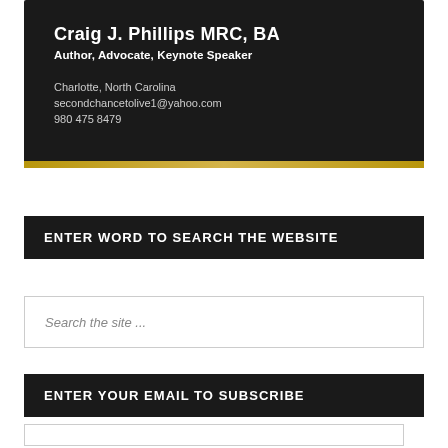[Figure (other): Business card with dark background showing Craig J. Phillips MRC, BA contact information with a gold horizontal line at the bottom]
ENTER WORD TO SEARCH THE WEBSITE
Search the site ...
ENTER YOUR EMAIL TO SUBSCRIBE